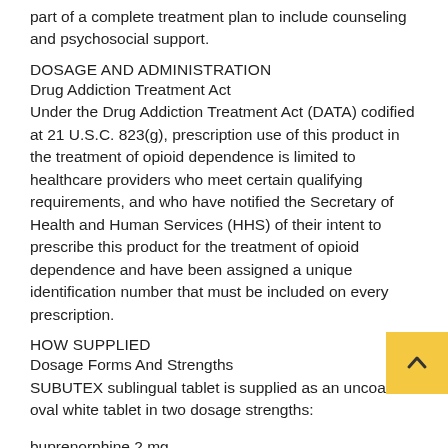part of a complete treatment plan to include counseling and psychosocial support.
DOSAGE AND ADMINISTRATION
Drug Addiction Treatment Act
Under the Drug Addiction Treatment Act (DATA) codified at 21 U.S.C. 823(g), prescription use of this product in the treatment of opioid dependence is limited to healthcare providers who meet certain qualifying requirements, and who have notified the Secretary of Health and Human Services (HHS) of their intent to prescribe this product for the treatment of opioid dependence and have been assigned a unique identification number that must be included on every prescription.
HOW SUPPLIED
Dosage Forms And Strengths
SUBUTEX sublingual tablet is supplied as an uncoated oval white tablet in two dosage strengths:
buprenorphine 2 mg,
Storage And Handling